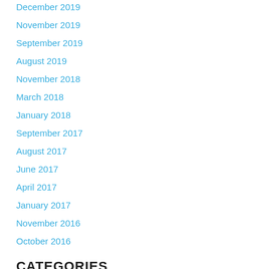December 2019
November 2019
September 2019
August 2019
November 2018
March 2018
January 2018
September 2017
August 2017
June 2017
April 2017
January 2017
November 2016
October 2016
CATEGORIES
Caregiving